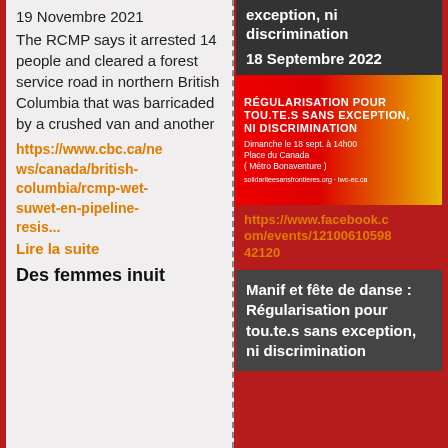19 Novembre 2021
The RCMP says it arrested 14 people and cleared a forest service road in northern British Columbia that was barricaded by a crushed van and another
https://www.cbc.ca/news/canada/british-columbia/rcmp-wet-suwet-en-pipeline-resis...
Lire la suite
Des femmes inuit
exception, ni discrimination
18 Septembre 2022
[Figure (photo): Event poster: RÉGULARISATION POUR TOU.TE.S SANS EXCEPTION, NI DISCRIMINATION - Dimanche le 18 sept. à 14h00 Place du Canada (Métro Bonaventure)]
https://www.facebook.com/events/12100610598 42120
Manif et fête de danse : Régularisation pour tou.te.s sans exception, ni discrimination